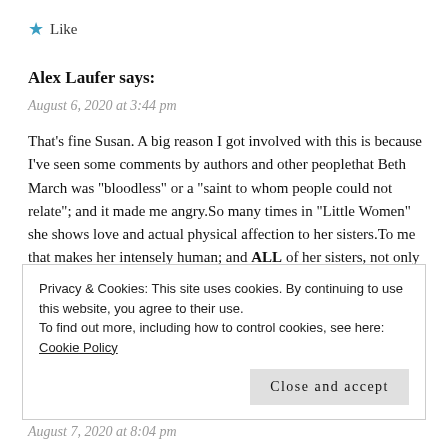★ Like
Alex Laufer says:
August 6, 2020 at 3:44 pm
That's fine Susan. A big reason I got involved with this is because I've seen some comments by authors and other peoplethat Beth March was "bloodless" or a "saint to whom people could not relate"; and it made me angry.So many times in "Little Women" she shows love and actual physical affection to her sisters.To me that makes her intensely human; and ALL of her sisters, not only Jo loved her. Anyway that's how I feel. Isn't it amazing that with all the stuff that's going on in this crazy world,how we can get so involved in a fictional character, and a
Privacy & Cookies: This site uses cookies. By continuing to use this website, you agree to their use.
To find out more, including how to control cookies, see here: Cookie Policy
Close and accept
August 7, 2020 at 8:04 pm